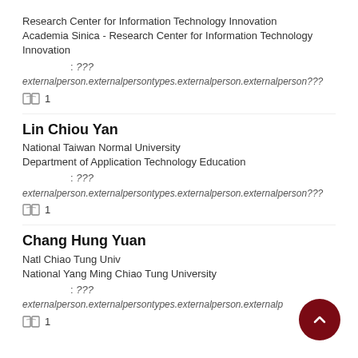Research Center for Information Technology Innovation
Academia Sinica - Research Center for Information Technology Innovation
: ???
externalperson.externalpersontypes.externalperson.externalperson???
1
Lin Chiou Yan
National Taiwan Normal University
Department of Application Technology Education
: ???
externalperson.externalpersontypes.externalperson.externalperson???
1
Chang Hung Yuan
Natl Chiao Tung Univ
National Yang Ming Chiao Tung University
: ???
externalperson.externalpersontypes.externalperson.externalp...
1